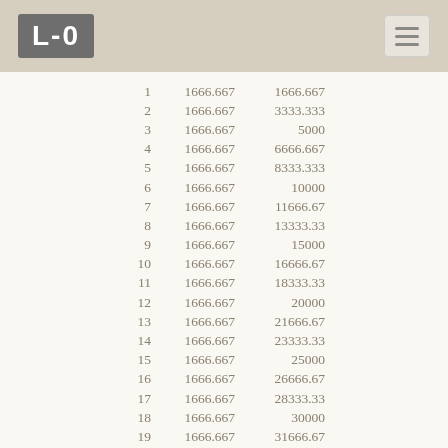L-O
| 1 | 1666.667 | 1666.667 |
| 2 | 1666.667 | 3333.333 |
| 3 | 1666.667 | 5000 |
| 4 | 1666.667 | 6666.667 |
| 5 | 1666.667 | 8333.333 |
| 6 | 1666.667 | 10000 |
| 7 | 1666.667 | 11666.67 |
| 8 | 1666.667 | 13333.33 |
| 9 | 1666.667 | 15000 |
| 10 | 1666.667 | 16666.67 |
| 11 | 1666.667 | 18333.33 |
| 12 | 1666.667 | 20000 |
| 13 | 1666.667 | 21666.67 |
| 14 | 1666.667 | 23333.33 |
| 15 | 1666.667 | 25000 |
| 16 | 1666.667 | 26666.67 |
| 17 | 1666.667 | 28333.33 |
| 18 | 1666.667 | 30000 |
| 19 | 1666.667 | 31666.67 |
| 20 | 1666.667 | 33333.33 |